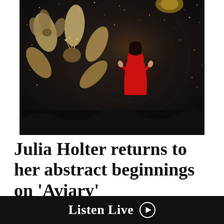[Figure (photo): Dark, ethereal artistic photo of a person in a red hooded jacket standing among large flowers in a dark, star-speckled environment. The scene has a mystical, nighttime feel with golden botanical elements on the left and glittering light particles throughout.]
Julia Holter returns to her abstract beginnings on 'Aviary'
by Caroline Smith | November 13, 2018
Listen Live ▶